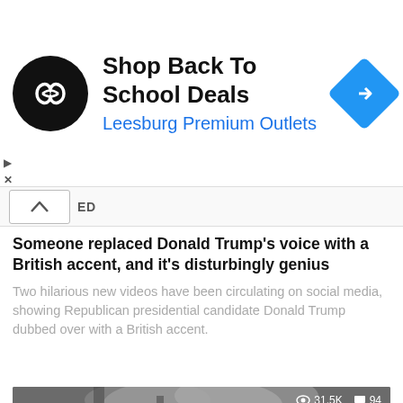[Figure (logo): Advertisement banner: black circular logo with infinity-like symbol, heading 'Shop Back To School Deals', subtext 'Leesburg Premium Outlets' in blue, blue diamond navigation icon on right]
Someone replaced Donald Trump's voice with a British accent, and it's disturbingly genius
Two hilarious new videos have been circulating on social media, showing Republican presidential candidate Donald Trump dubbed over with a British accent.
[Figure (screenshot): Video thumbnail showing black and white outdoor scene with people, overlaid stats showing eye icon 31.5K and comment icon 94]
FEATURED
VIDEO: Watch this content brilliant trump...featuring Johnathan...